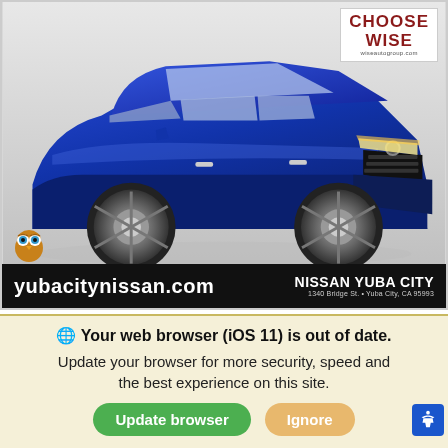[Figure (photo): Blue Nissan Rogue SUV on a light grey background, three-quarter front view. Choose Wise logo (wiseautogroup.com) in top right corner. Owl mascot in bottom left. Black dealer bar at bottom with 'yubacitynissan.com' on left and 'NISSAN YUBA CITY / 1340 Bridge St. • Yuba City, CA 95993' on right.]
We use cookies to optimize our website and our service.
Cookie Policy - Privacy Statement
🌐 Your web browser (iOS 11) is out of date. Update your browser for more security, speed and the best experience on this site.
Update browser
Ignore